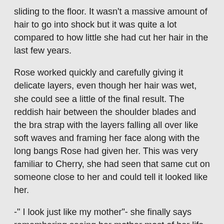sliding to the floor. It wasn't a massive amount of hair to go into shock but it was quite a lot compared to how little she had cut her hair in the last few years.
Rose worked quickly and carefully giving it delicate layers, even though her hair was wet, she could see a little of the final result. The reddish hair between the shoulder blades and the bra strap with the layers falling all over like soft waves and framing her face along with the long bangs Rose had given her. This was very familiar to Cherry, she had seen that same cut on someone close to her and could tell it looked like her.
-" I look just like my mother"- she finally says remembering seeing her mother most of her life with those delicate layers and long bangs with the difference that her hair was a shade lighter than Cherry's.
– "I was just about to say that honey, although you look good and your mother would surely adore it, I don't think